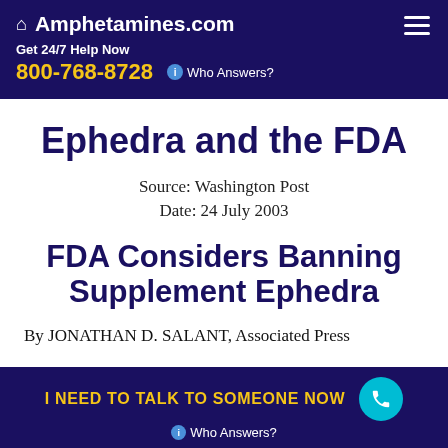Amphetamines.com — Get 24/7 Help Now 800-768-8728 ℹ Who Answers?
Ephedra and the FDA
Source: Washington Post
Date: 24 July 2003
FDA Considers Banning Supplement Ephedra
By JONATHAN D. SALANT, Associated Press
I NEED TO TALK TO SOMEONE NOW ℹ Who Answers?